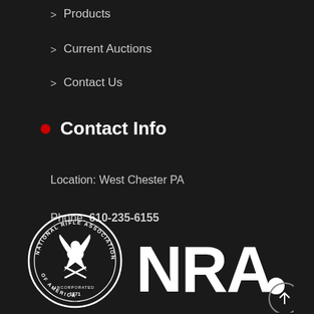> Products
> Current Auctions
> Contact Us
Contact Info
Location: West Chester PA
Phone: 610-235-6155
[Figure (logo): NRA - National Rifle Association of America logo with circular seal and NRA text]